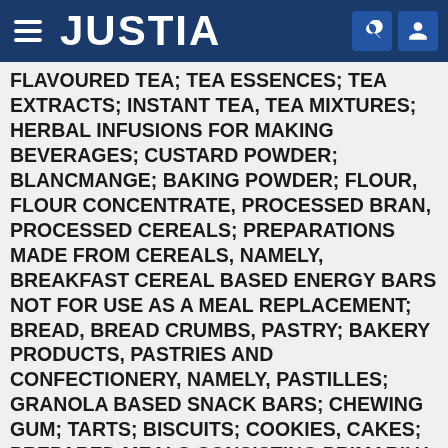JUSTIA
FLAVOURED TEA; TEA ESSENCES; TEA EXTRACTS; INSTANT TEA, TEA MIXTURES; HERBAL INFUSIONS FOR MAKING BEVERAGES; CUSTARD POWDER; BLANCMANGE; BAKING POWDER; FLOUR, FLOUR CONCENTRATE, PROCESSED BRAN, PROCESSED CEREALS; PREPARATIONS MADE FROM CEREALS, NAMELY, BREAKFAST CEREAL BASED ENERGY BARS NOT FOR USE AS A MEAL REPLACEMENT; BREAD, BREAD CRUMBS, PASTRY; BAKERY PRODUCTS, PASTRIES AND CONFECTIONERY, NAMELY, PASTILLES; GRANOLA BASED SNACK BARS; CHEWING GUM; TARTS; BISCUITS; COOKIES, CAKES; PREPARED MEALS CONSISTING PRIMARILY OF PASTA OR RICE; CEREAL BASED SNACK FOOD; CHOCOLATE, CHOCOLATE BARS, CHOCOLATES AND CONFECTIONERY, NAMELY, PASTILLES; PROCESSED CULINARY HERBS, SPICES; SUGAR, RICE, TAPIOCA, SAGO; FRUIT ICES; HONEY; TREACLE; SALT, MUSTARD, PEPPER, VINEGAR, SAUCES; ICE; ICE CREAM,